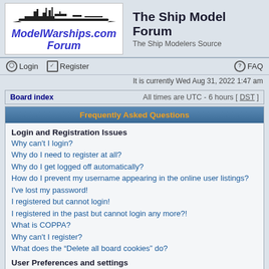[Figure (logo): ModelWarships.com Forum logo with ship silhouette and italic bold blue text]
The Ship Model Forum
The Ship Modelers Source
Login | Register | FAQ
It is currently Wed Aug 31, 2022 1:47 am
Board index    All times are UTC - 6 hours [ DST ]
Frequently Asked Questions
Login and Registration Issues
Why can't I login?
Why do I need to register at all?
Why do I get logged off automatically?
How do I prevent my username appearing in the online user listings?
I've lost my password!
I registered but cannot login!
I registered in the past but cannot login any more?!
What is COPPA?
Why can't I register?
What does the "Delete all board cookies" do?
User Preferences and settings
How do I change my settings?